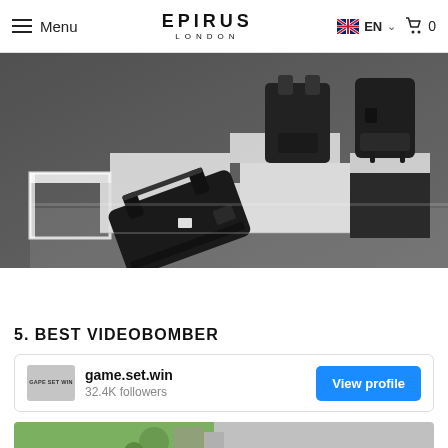Menu | EPIRUS LONDON | EN 0
[Figure (photo): Product photo of black bags and backpacks arranged on white geometric cube platforms against a dark grey background]
5. BEST VIDEOBOMBER
game.set.win
32.4K followers
View profile